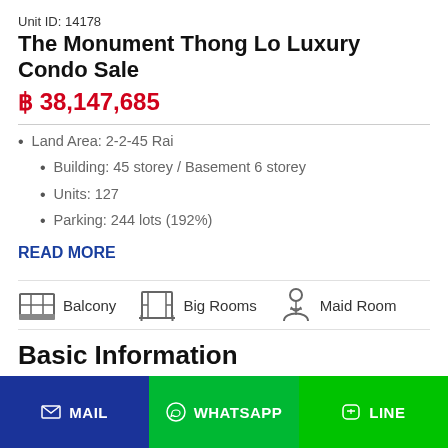Unit ID: 14178
The Monument Thong Lo Luxury Condo Sale
฿ 38,147,685
Land Area: 2-2-45 Rai
Building: 45 storey / Basement 6 storey
Units: 127
Parking: 244 lots (192%)
READ MORE
[Figure (infographic): Amenity icons row: Balcony, Big Rooms, Maid Room]
Basic Information
| Property Type | Furnished |
| --- | --- |
| Project | - |